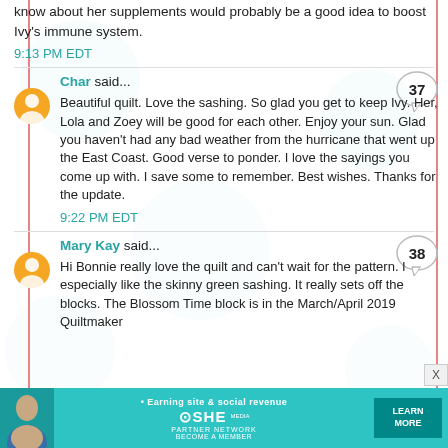know about her supplements would probably be a good idea to boost Ivy's immune system.
9:13 PM EDT
Char said...
Beautiful quilt. Love the sashing. So glad you get to keep Ivy. Her, Lola and Zoey will be good for each other. Enjoy your sun. Glad you haven't had any bad weather from the hurricane that went up the East Coast. Good verse to ponder. I love the sayings you come up with. I save some to remember. Best wishes. Thanks for the update.
9:22 PM EDT
Mary Kay said...
Hi Bonnie really love the quilt and can't wait for the pattern. I especially like the skinny green sashing. It really sets off the blocks. The Blossom Time block is in the March/April 2019 Quiltmaker